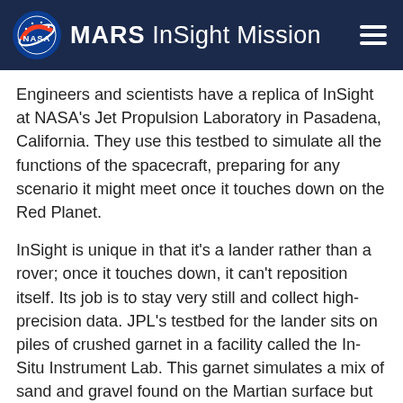MARS InSight Mission
Engineers and scientists have a replica of InSight at NASA's Jet Propulsion Laboratory in Pasadena, California. They use this testbed to simulate all the functions of the spacecraft, preparing for any scenario it might meet once it touches down on the Red Planet.
InSight is unique in that it's a lander rather than a rover; once it touches down, it can't reposition itself. Its job is to stay very still and collect high-precision data. JPL's testbed for the lander sits on piles of crushed garnet in a facility called the In-Situ Instrument Lab. This garnet simulates a mix of sand and gravel found on the Martian surface but has the benefit of being dust-free. The testbed's legs are raised or lowered to test operations in an uneven landing area with up to 15 degrees of tilt.
Engineers also pile garnet at different tilts in the